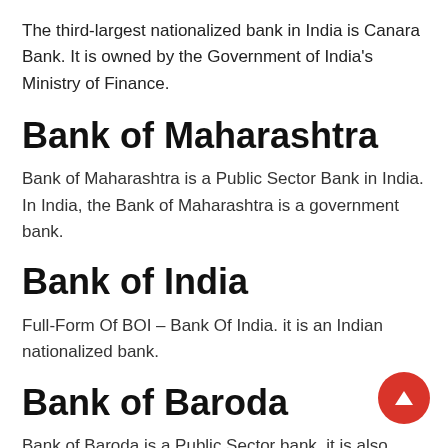The third-largest nationalized bank in India is Canara Bank. It is owned by the Government of India's Ministry of Finance.
Bank of Maharashtra
Bank of Maharashtra is a Public Sector Bank in India. In India, the Bank of Maharashtra is a government bank.
Bank of India
Full-Form Of BOI – Bank Of India. it is an Indian nationalized bank.
Bank of Baroda
Bank of Baroda is a Public Sector bank, it is also...